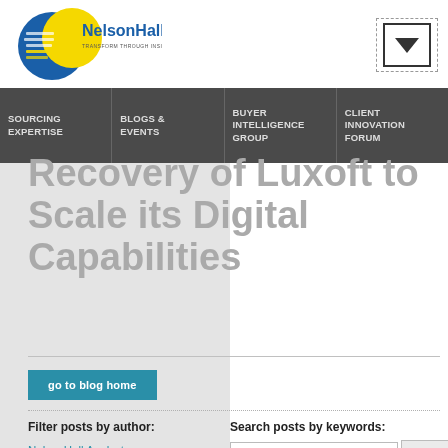[Figure (logo): NelsonHall logo with blue and yellow circular emblem and text 'NelsonHall TRANSFORM THROUGH INSIGHT']
SOURCING EXPERTISE | BLOGS & EVENTS | BUYER INTELLIGENCE GROUP | CLIENT INNOVATION FORUM
Recovery of Luxoft to Scale its Digital Capabilities
go to blog home
Search posts by keywords:
Filter posts by author:
NelsonHall Analyst